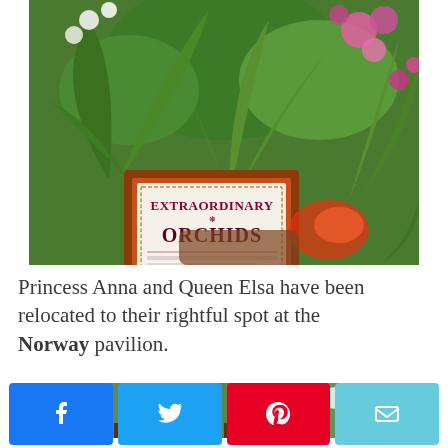[Figure (photo): Photo of tropical plants and orchids display with a sign reading 'Extraordinary Orchids' in a brown wooden frame, surrounded by green palm fronds, pink and white flowers.]
Princess Anna and Queen Elsa have been relocated to their rightful spot at the Norway pavilion.
[Figure (photo): Partially visible photo showing trees, a lamp post, and blue sky — appears to be an outdoor theme park setting.]
[Figure (infographic): Social media share buttons: Facebook (blue), Twitter (blue), Pinterest (red), Email (teal)]